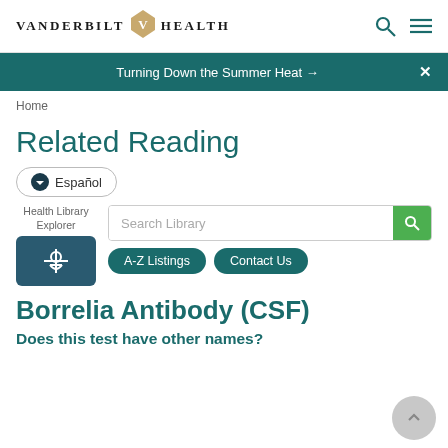VANDERBILT HEALTH
Turning Down the Summer Heat →
Home
Related Reading
Español
Health Library Explorer
Search Library
A-Z Listings
Contact Us
Borrelia Antibody (CSF)
Does this test have other names?